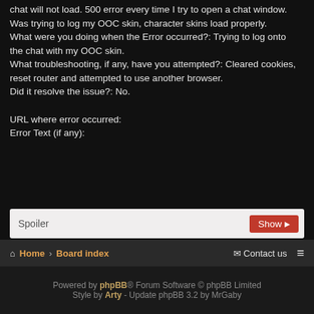chat will not load. 500 error every time I try to open a chat window. Was trying to log my OOC skin, character skins load properly. What were you doing when the Error occurred?: Trying to log onto the chat with my OOC skin. What troubleshooting, if any, have you attempted?: Cleared cookies, reset router and attempted to use another browser. Did it resolve the issue?: No.

URL where error occurred:
Error Text (if any):
Spoiler  [Show]
Post Reply  |  tools
1 post • Page 1 of 1
Home > Board index   Contact us  ≡
Powered by phpBB® Forum Software © phpBB Limited Style by Arty - Update phpBB 3.2 by MrGaby